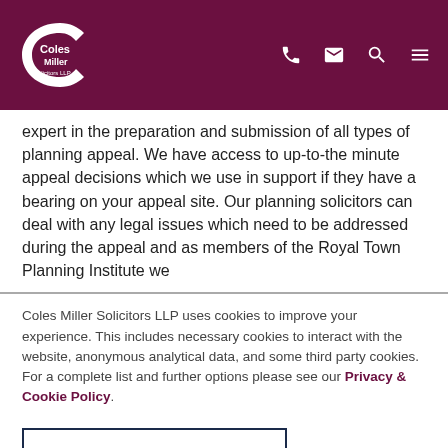Coles Miller Solicitors LLP — header with logo and navigation icons
expert in the preparation and submission of all types of planning appeal. We have access to up-to-the minute appeal decisions which we use in support if they have a bearing on your appeal site. Our planning solicitors can deal with any legal issues which need to be addressed during the appeal and as members of the Royal Town Planning Institute we
Coles Miller Solicitors LLP uses cookies to improve your experience. This includes necessary cookies to interact with the website, anonymous analytical data, and some third party cookies. For a complete list and further options please see our Privacy & Cookie Policy.
Accept All and Close